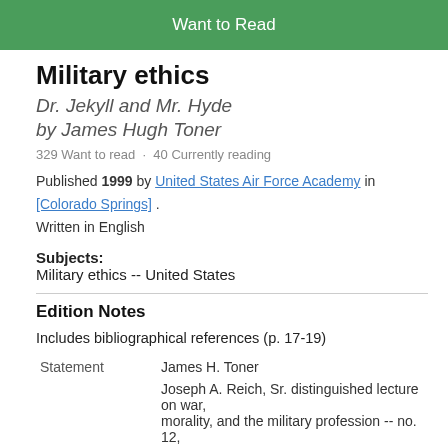[Figure (other): Green 'Want to Read' button at top of page]
Military ethics
Dr. Jekyll and Mr. Hyde
by James Hugh Toner
329 Want to read · 40 Currently reading
Published 1999 by United States Air Force Academy in [Colorado Springs] .
Written in English
Subjects:
Military ethics -- United States
Edition Notes
Includes bibliographical references (p. 17-19)
|  |  |
| --- | --- |
| Statement | James H. Toner |
|  | Joseph A. Reich, Sr. distinguished lecture on war, morality, and the military profession -- no. 12, |
| Series |  |